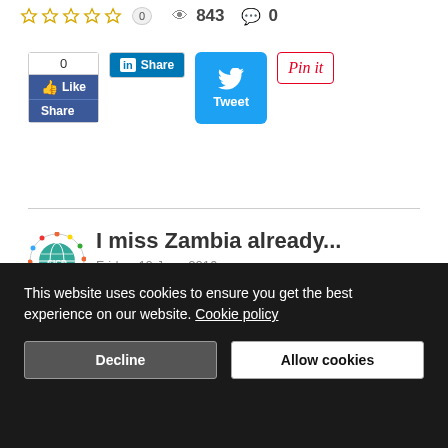[Figure (screenshot): Star rating row showing 5 empty stars, count 0, eye icon with 843 views, comment icon with 0 comments]
[Figure (screenshot): Social sharing buttons: Facebook Like/Share block with count 0, LinkedIn Share button, Twitter Tweet button, Pinterest Pin it button]
[Figure (screenshot): CICD organization logo — globe with colorful border and letters CICD]
I miss Zambia already...
Friday, 10 June 2016
CICD
In Africa and India
This website uses cookies to ensure you get the best experience on our website. Cookie policy
Decline
Allow cookies